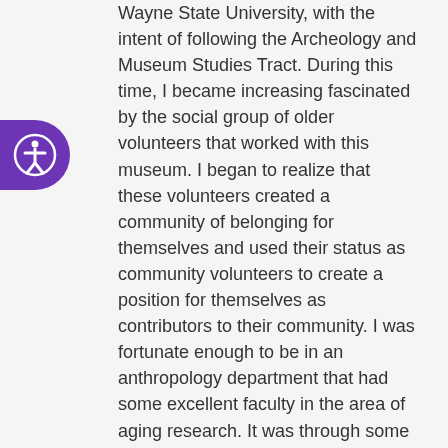Wayne State University, with the intent of following the Archeology and Museum Studies Tract. During this time, I became increasing fascinated by the social group of older volunteers that worked with this museum. I began to realize that these volunteers created a community of belonging for themselves and used their status as community volunteers to create a position for themselves as contributors to their community. I was fortunate enough to be in an anthropology department that had some excellent faculty in the area of aging research. It was through some great mentoring by Dr. Sherri Briller that I realized that my true research interest was aging and the life course.
What is an article, book, or other work that has made an impact on how you think about aging and your research?
When I first mentioned my interested in aging research, one of my mentors introduced me to the classic...